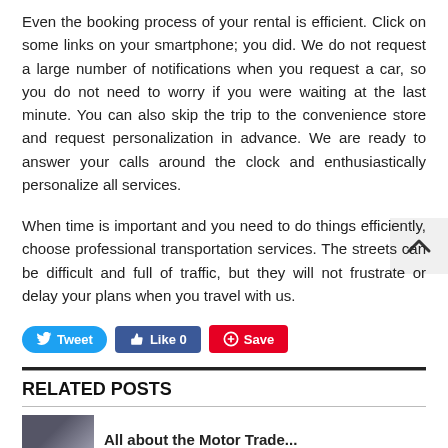Even the booking process of your rental is efficient. Click on some links on your smartphone; you did. We do not request a large number of notifications when you request a car, so you do not need to worry if you were waiting at the last minute. You can also skip the trip to the convenience store and request personalization in advance. We are ready to answer your calls around the clock and enthusiastically personalize all services.
When time is important and you need to do things efficiently, choose professional transportation services. The streets can be difficult and full of traffic, but they will not frustrate or delay your plans when you travel with us.
Tweet  Like 0  Save
RELATED POSTS
All about the Motor Trade...